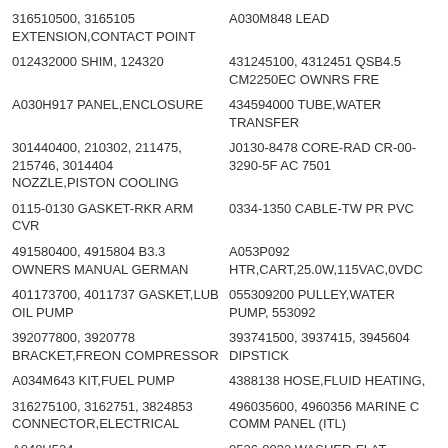316510500, 3165105 EXTENSION,CONTACT POINT
A030M848 LEAD
012432000 SHIM, 124320
431245100, 4312451 QSB4.5 CM2250EC OWNRS FRE
A030H917 PANEL,ENCLOSURE
434594000 TUBE,WATER TRANSFER
301440400, 210302, 211475, 215746, 3014404 NOZZLE,PISTON COOLING
J0130-8478 CORE-RAD CR-00-3290-5F AC 7501
0115-0130 GASKET-RKR ARM CVR
0334-1350 CABLE-TW PR PVC
491580400, 4915804 B3.3 OWNERS MANUAL GERMAN
A053P092 HTR,CART,25.0W,115VAC,0VDC
401173700, 4011737 GASKET,LUB OIL PUMP
055309200 PULLEY,WATER PUMP, 553092
392077800, 3920778 BRACKET,FREON COMPRESSOR
393741500, 3937415, 3945604 DIPSTICK
A034M643 KIT,FUEL PUMP
4388138 HOSE,FLUID HEATING,
316275100, 3162751, 3824853 CONNECTOR,ELECTRICAL
496035600, 4960356 MARINE C COMM PANEL (ITL)
A048H524 INSULATION,ENCLOSURE
0526-0032 WASHER-FLAT